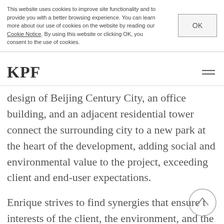This website uses cookies to improve site functionality and to provide you with a better browsing experience. You can learn more about our use of cookies on the website by reading our Cookie Notice. By using this website or clicking OK, you consent to the use of cookies.
KPF
design of Beijing Century City, an office building, and an adjacent residential tower connect the surrounding city to a new park at the heart of the development, adding social and environmental value to the project, exceeding client and end-user expectations.
Enrique strives to find synergies that ensure the interests of the client, the environment, and the city are aligned. At a project in Lisbon, Enrique and the team pushed the brief to its limits and designed urban streets connecting two parts of the city that